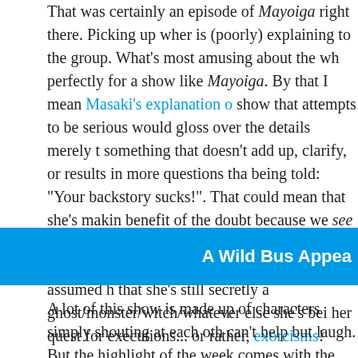That was certainly an episode of Mayoiga right there. Picking up where is (poorly) explaining to the group. What's most amusing about the wh perfectly for a show like Mayoiga. By that I mean Masaki's explanation o show that attempts to be serious would gloss over the details merely t something that doesn't add up, clarify, or results in more questions tha being told: "Your backstory sucks!". That could mean that she's makin benefit of the doubt because we see the events unfold in the opening n the ordinary going on. But I had to laugh whenever anyone assumed h that she's still secretly a ghost/monster/witch/whatever else she's bei her quest for executions... or rather, exorcisms!
A Wild Bus Appea
A lot of this show is made up of characters simply shouting at each oth can't help but laugh. But the highlight of the week comes with the retu knocking down and potentially killing a few villagers. We haven't seen brought up, and clearly he's just as fucked in the head as everyone else normal and sensible compared to everyone else's, which sets her apar as last week's witch trials, things got intense when Masaki and Mitsumu